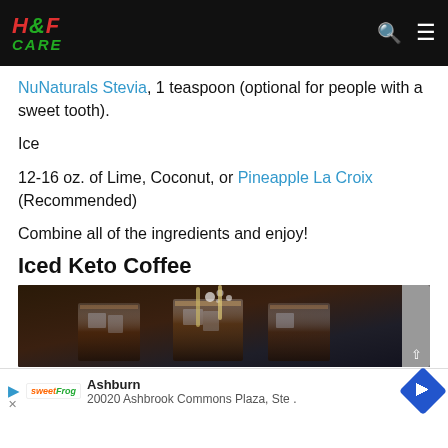H&F CARE
NuNaturals Stevia, 1 teaspoon (optional for people with a sweet tooth).
Ice
12-16 oz. of Lime, Coconut, or Pineapple La Croix (Recommended)
Combine all of the ingredients and enjoy!
Iced Keto Coffee
[Figure (photo): Photo of iced coffee drinks in glasses on a dark background with bubbles/foam visible]
Ashburn
20020 Ashbrook Commons Plaza, Ste .